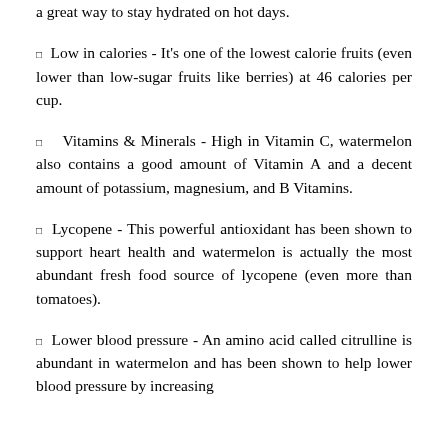a great way to stay hydrated on hot days.
Low in calories - It's one of the lowest calorie fruits (even lower than low-sugar fruits like berries) at 46 calories per cup.
Vitamins & Minerals - High in Vitamin C, watermelon also contains a good amount of Vitamin A and a decent amount of potassium, magnesium, and B Vitamins.
Lycopene - This powerful antioxidant has been shown to support heart health and watermelon is actually the most abundant fresh food source of lycopene (even more than tomatoes).
Lower blood pressure - An amino acid called citrulline is abundant in watermelon and has been shown to help lower blood pressure by increasing